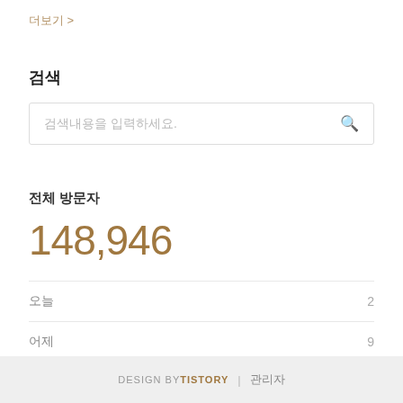더보기 >
검색
검색내용을 입력하세요.
전체 방문자
148,946
| 항목 | 수 |
| --- | --- |
| 오늘 | 2 |
| 어제 | 9 |
DESIGN BY TISTORY | 관리자